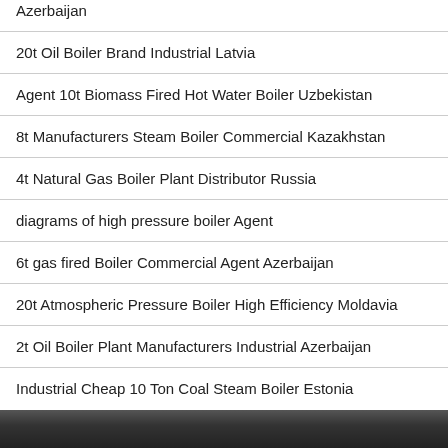Azerbaijan
20t Oil Boiler Brand Industrial Latvia
Agent 10t Biomass Fired Hot Water Boiler Uzbekistan
8t Manufacturers Steam Boiler Commercial Kazakhstan
4t Natural Gas Boiler Plant Distributor Russia
diagrams of high pressure boiler Agent
6t gas fired Boiler Commercial Agent Azerbaijan
20t Atmospheric Pressure Boiler High Efficiency Moldavia
2t Oil Boiler Plant Manufacturers Industrial Azerbaijan
Industrial Cheap 10 Ton Coal Steam Boiler Estonia
[Figure (photo): Dark textured background (wood or stone surface) at the bottom of the page]